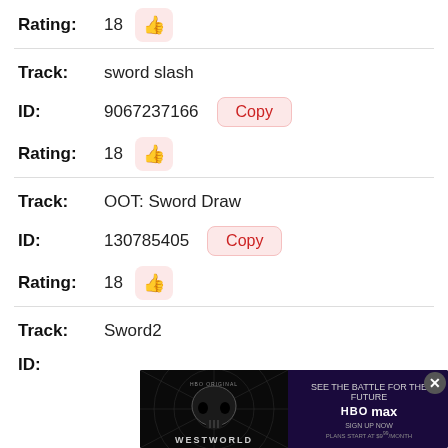Rating: 18 [thumbs up]
Track: sword slash
ID: 9067237166 [Copy button]
Rating: 18 [thumbs up]
Track: OOT: Sword Draw
ID: 130785405 [Copy button]
Rating: 18 [thumbs up]
Track: Sword2
ID:
[Figure (screenshot): Westworld HBO Max advertisement banner overlay at bottom of page]